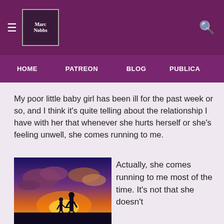Marc Nobbs — HOME | PATREON | BLOG | PUBLICA...
My poor little baby girl has been ill for the past week or so, and I think it's quite telling about the relationship I have with her that whenever she hurts herself or she's feeling unwell, she comes running to me.
[Figure (photo): Silhouette of a tall person and a small child holding hands against a dramatic sunset sky with orange and purple clouds.]
Actually, she comes running to me most of the time. It's not that she doesn't...